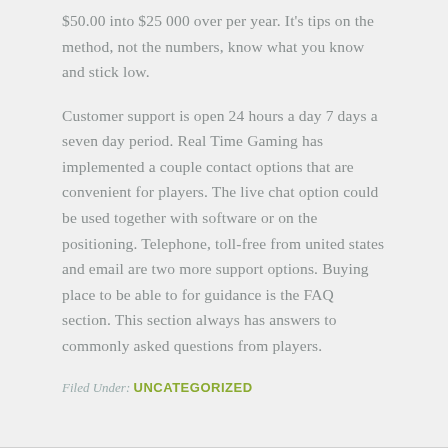$50.00 into $25 000 over per year. It's tips on the method, not the numbers, know what you know and stick low.
Customer support is open 24 hours a day 7 days a seven day period. Real Time Gaming has implemented a couple contact options that are convenient for players. The live chat option could be used together with software or on the positioning. Telephone, toll-free from united states and email are two more support options. Buying place to be able to for guidance is the FAQ section. This section always has answers to commonly asked questions from players.
Filed Under: UNCATEGORIZED